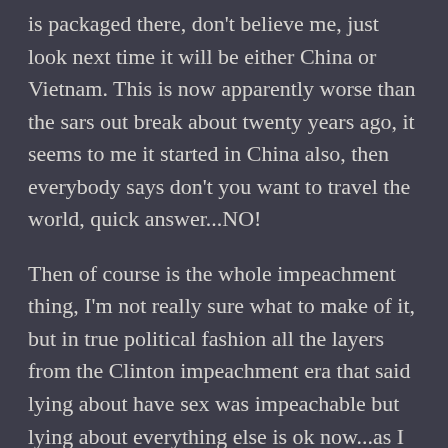is packaged there, don't believe me, just look next time it will be either China or Vietnam. This is now apparently worse than the sars out break about twenty years ago, it seems to me it started in China also, then everybody says don't you want to travel the world, quick answer...NO!
Then of course is the whole impeachment thing, I'm not really sure what to make of it, but in true political fashion all the layers from the Clinton impeachment era that said lying about have sex was impeachable but lying about everything else is ok now...as I always have said I have no direct skin in this mess either way but like why can someone not stop this man from saying stupid